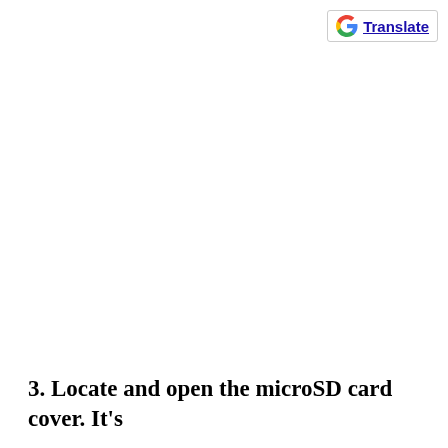G Translate
3. Locate and open the microSD card cover. It's